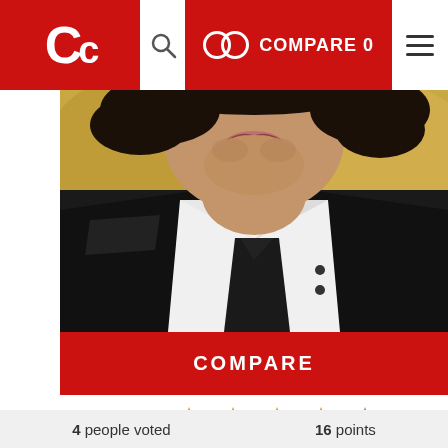Cc COMPARE 0
[Figure (photo): Young man in black suit with white shirt and black tie, photo cropped from chin to chest, curly dark hair visible at top, yellowish background]
COMPARE
Vote ★★★★☆
4 people voted   16 points